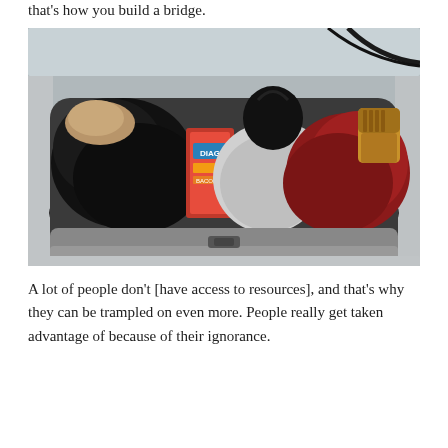that's how you build a bridge.
[Figure (photo): Open car trunk filled with black garbage bags, clothing items including a red jacket and boots, and a colorful box, possibly snacks or cereal.]
A lot of people don't [have access to resources], and that's why they can be trampled on even more. People really get taken advantage of because of their ignorance.